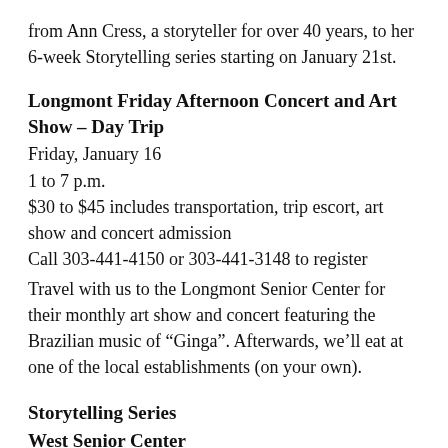from Ann Cress, a storyteller for over 40 years, to her 6-week Storytelling series starting on January 21st.
Longmont Friday Afternoon Concert and Art Show – Day Trip
Friday, January 16
1 to 7 p.m.
$30 to $45 includes transportation, trip escort, art show and concert admission
Call 303-441-4150 or 303-441-3148 to register
Travel with us to the Longmont Senior Center for their monthly art show and concert featuring the Brazilian music of “Ginga”. Afterwards, we’ll eat at one of the local establishments (on your own).
Storytelling Series
West Senior Center